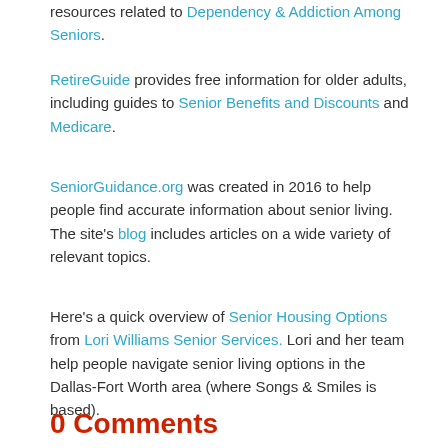resources related to Dependency & Addiction Among Seniors.
RetireGuide provides free information for older adults, including guides to Senior Benefits and Discounts and Medicare.
SeniorGuidance.org was created in 2016 to help people find accurate information about senior living. The site's blog includes articles on a wide variety of relevant topics.
Here's a quick overview of Senior Housing Options from Lori Williams Senior Services. Lori and her team help people navigate senior living options in the Dallas-Fort Worth area (where Songs & Smiles is based).
0 Comments